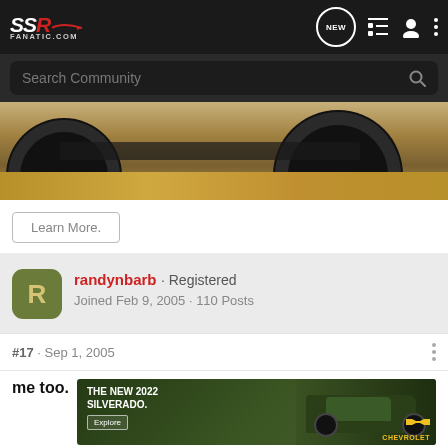SSR FANATIC.COM — navigation bar with NEW button, list icon, user icon, menu dots
Search Community
[Figure (photo): Close-up of vehicle tires driving through dusty/sandy terrain]
Learn More.
randynbarb · Registered
Joined Feb 9, 2005 · 110 Posts
#17 · Sep 1, 2005
me too.
[Figure (photo): Advertisement: THE NEW 2022 SILVERADO. Explore. Chevrolet truck in field, Chevrolet gold bowtie logo.]